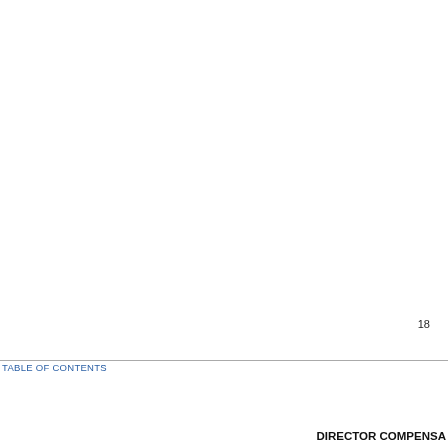18
TABLE OF CONTENTS
DIRECTOR COMPENSA